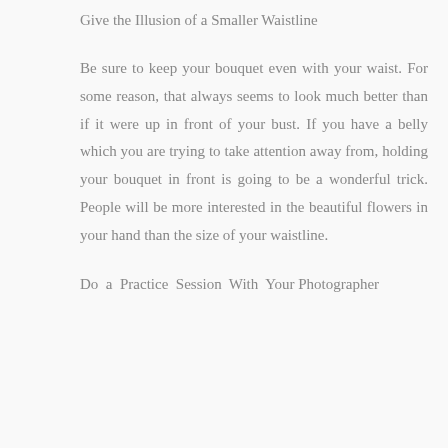Give the Illusion of a Smaller Waistline
Be sure to keep your bouquet even with your waist. For some reason, that always seems to look much better than if it were up in front of your bust. If you have a belly which you are trying to take attention away from, holding your bouquet in front is going to be a wonderful trick. People will be more interested in the beautiful flowers in your hand than the size of your waistline.
Do a Practice Session With Your Photographer